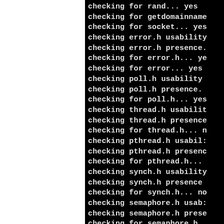checking for rand... yes
checking for getdomainname
checking for socket... yes
checking error.h usability
checking error.h presence.
checking for error.h... ye
checking for error... yes
checking poll.h usability
checking poll.h presence.
checking for poll.h... yes
checking thread.h usabilit
checking thread.h presence
checking for thread.h... n
checking pthread.h usabil
checking pthread.h presen
checking for pthread.h...
checking synch.h usability
checking synch.h presence
checking for synch.h... no
checking semaphore.h usab
checking semaphore.h prese
checking for semaphore.h.
checking for pthread_mutex
checking aio.h usability